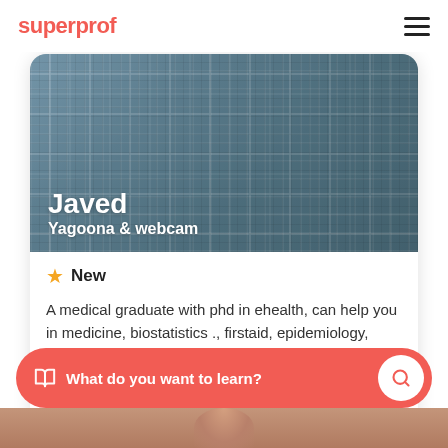superprof
[Figure (photo): Profile photo of tutor Javed wearing a plaid shirt, with name overlay showing 'Javed' and 'Yagoona & webcam']
New
A medical graduate with phd in ehealth, can help you in medicine, biostatistics ., firstaid, epidemiology, research and scientific write ups....
$30/h
1st lesson free
What do you want to learn?